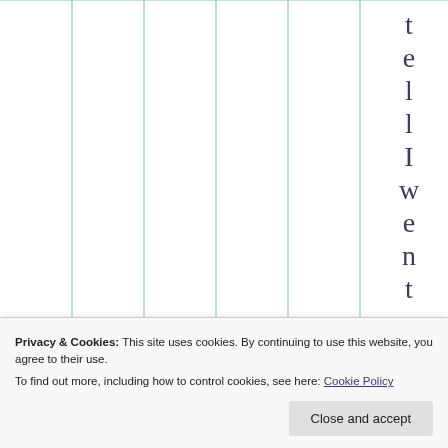[Figure (other): A table with vertical green column dividers. The rightmost column contains vertical text reading 't e l l I w e n t o f' with one character per line. The table cells are mostly empty with thin green vertical lines as column separators.]
Privacy & Cookies: This site uses cookies. By continuing to use this website, you agree to their use.
To find out more, including how to control cookies, see here: Cookie Policy
Close and accept